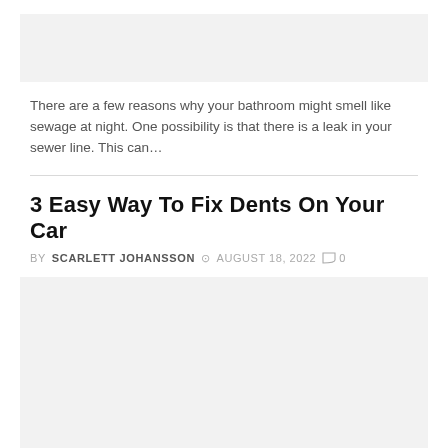[Figure (photo): Top image placeholder, light gray background]
There are a few reasons why your bathroom might smell like sewage at night. One possibility is that there is a leak in your sewer line. This can…
3 Easy Way To Fix Dents On Your Car
BY SCARLETT JOHANSSON  AUGUST 18, 2022  0
[Figure (photo): Bottom image placeholder, light gray background]